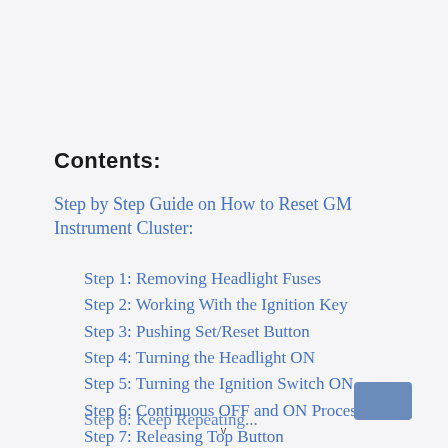Contents:
Step by Step Guide on How to Reset GM Instrument Cluster:
Step 1: Removing Headlight Fuses
Step 2: Working With the Ignition Key
Step 3: Pushing Set/Reset Button
Step 4: Turning the Headlight ON
Step 5: Turning the Ignition Switch ON
Step 6: Continuous OFF and ON Process
Step 7: Releasing Top Button
Step 8: Keep Repeating...